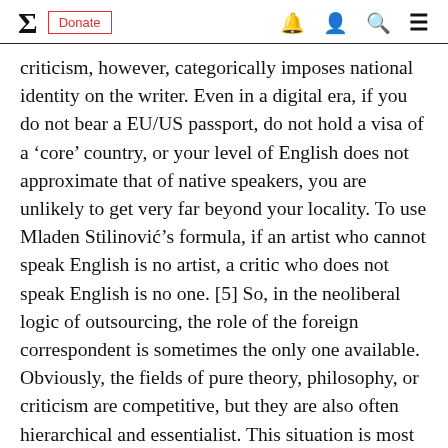Σ  Donate  [bell] [person] [search] [menu]
criticism, however, categorically imposes national identity on the writer. Even in a digital era, if you do not bear a EU/US passport, do not hold a visa of a 'core' country, or your level of English does not approximate that of native speakers, you are unlikely to get very far beyond your locality. To use Mladen Stilinović's formula, if an artist who cannot speak English is no artist, a critic who does not speak English is no one. [5] So, in the neoliberal logic of outsourcing, the role of the foreign correspondent is sometimes the only one available. Obviously, the fields of pure theory, philosophy, or criticism are competitive, but they are also often hierarchical and essentialist. This situation is most apparent in academia, where many PhD students from Russia are gradually pushed into the field of 'slavicities'. [6]